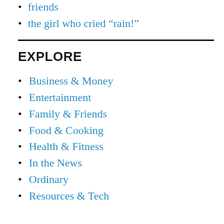friends
the girl who cried “rain!”
EXPLORE
Business & Money
Entertainment
Family & Friends
Food & Cooking
Health & Fitness
In the News
Ordinary
Resources & Tech